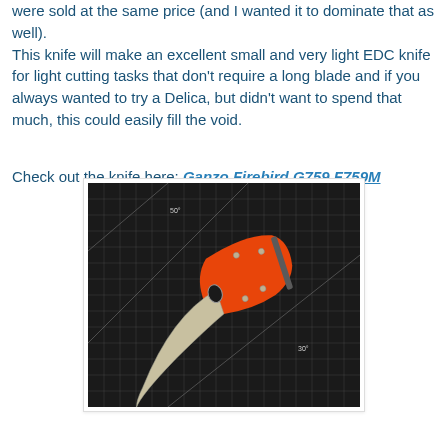were sold at the same price (and I wanted it to dominate that as well). This knife will make an excellent small and very light EDC knife for light cutting tasks that don't require a long blade and if you always wanted to try a Delica, but didn't want to spend that much, this could easily fill the void.
Check out the knife here: Ganzo Firebird G759 F759M
[Figure (photo): Photo of a Ganzo Firebird folding knife with orange handle and silver blade, placed on a dark cutting mat with grid lines and angle markings (30°, 45°, 50°).]